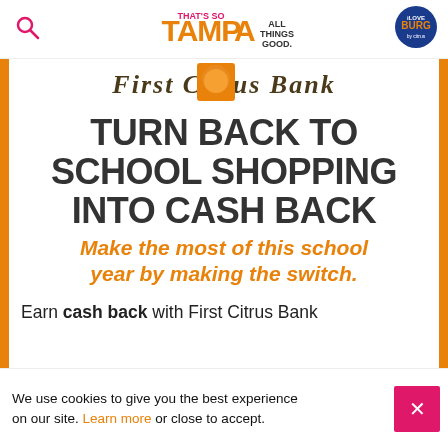THAT'S SO TAMPA ALL THINGS GOOD.
[Figure (logo): First Citrus Bank logo banner at top of ad]
TURN BACK TO SCHOOL SHOPPING INTO CASH BACK
Make the most of this school year by making the switch.
Earn cash back with First Citrus Bank
We use cookies to give you the best experience on our site. Learn more or close to accept.